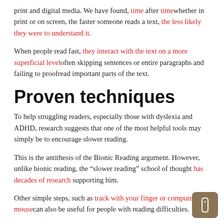print and digital media. We have found, time after timewhether in print or on screen, the faster someone reads a text, the less likely they were to understand it.
When people read fast, they interact with the text on a more superficial leveloften skipping sentences or entire paragraphs and failing to proofread important parts of the text.
Proven techniques
To help struggling readers, especially those with dyslexia and ADHD, research suggests that one of the most helpful tools may simply be to encourage slower reading.
This is the antithesis of the Bionic Reading argument. However, unlike bionic reading, the “slower reading” school of thought has decades of research supporting him.
Other simple steps, such as track with your finger or computer mousecan also be useful for people with reading difficulties.